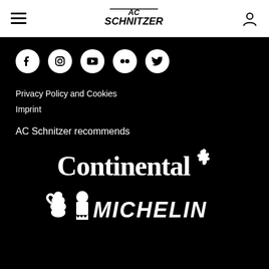AC Schnitzer navigation header with hamburger menu and user icon
[Figure (logo): AC Schnitzer logo in header]
[Figure (infographic): Social media icons row: Facebook, Instagram, YouTube, Flickr, Twitter]
Privacy Policy and Cookies
Imprint
AC Schnitzer recommends
[Figure (logo): Continental tyre brand logo in white on black background]
[Figure (logo): Michelin tyre brand logo (partial) in white on black background]